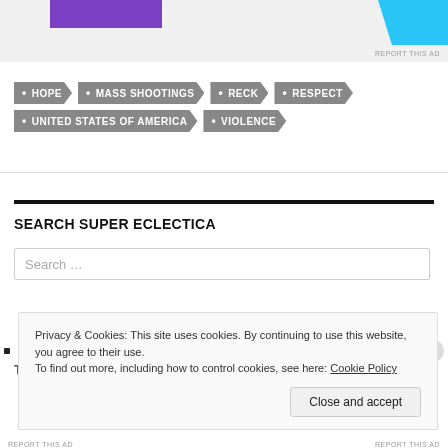[Figure (other): Top advertisement banner with purple rectangle on left and blue shape on right]
• HOPE
• MASS SHOOTINGS
• RECK
• RESPECT
• UNITED STATES OF AMERICA
• VIOLENCE
SEARCH SUPER ECLECTICA
Search ...
Privacy & Cookies: This site uses cookies. By continuing to use this website, you agree to their use.
To find out more, including how to control cookies, see here: Cookie Policy
Close and accept